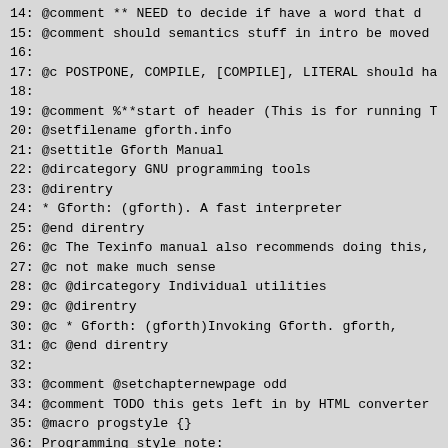[Figure (screenshot): Code/text editor view showing numbered lines 15-44 of a Texinfo source file for the Gforth Manual, displayed in monospace font on a gray background. Lines include @comment, @c, @setfilename, @settitle, @dircategory, @direntry, @macro, and other Texinfo directives.]